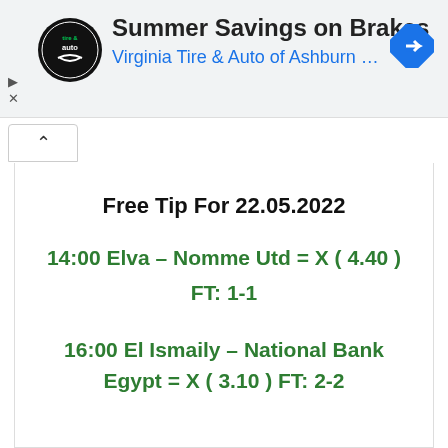[Figure (screenshot): Virginia Tire & Auto of Ashburn advertisement banner with circular logo, title 'Summer Savings on Brakes', subtitle 'Virginia Tire & Auto of Ashburn ...', and a blue navigation diamond icon]
Free Tip For 22.05.2022
14:00 Elva – Nomme Utd = X ( 4.40 ) FT: 1-1
16:00 El Ismaily – National Bank Egypt = X ( 3.10 ) FT: 2-2